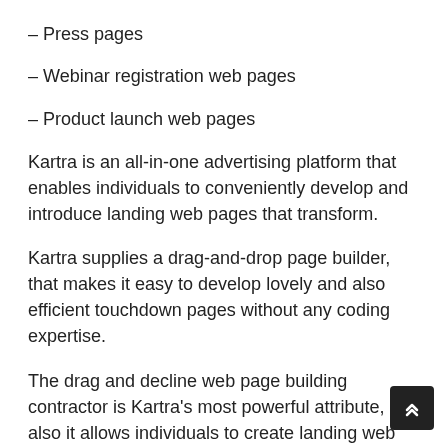– Press pages
– Webinar registration web pages
– Product launch web pages
Kartra is an all-in-one advertising platform that enables individuals to conveniently develop and introduce landing web pages that transform.
Kartra supplies a drag-and-drop page builder, that makes it easy to develop lovely and also efficient touchdown pages without any coding expertise.
The drag and decline web page building contractor is Kartra's most powerful attribute, and also it allows individuals to create landing web pages that are both aesthetically pleasing and highly efficient. Kartra additionally uses a wide variety of themes